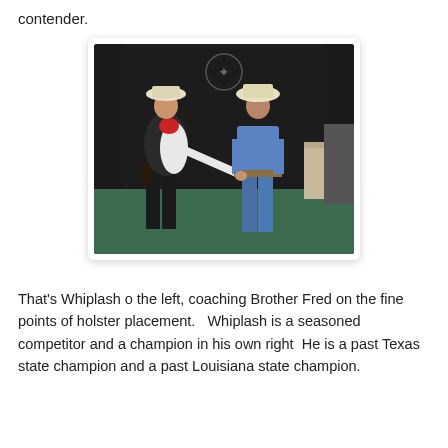contender.
[Figure (photo): Two men in cowboy hats shaking hands indoors. The man on the left wears a black vest, white shirt, red bandana, and chaps with a holster. The man on the right wears a blue shirt and jeans with a belt. A dark curtain hangs in the background.]
That's Whiplash o the left, coaching Brother Fred on the fine points of holster placement.   Whiplash is a seasoned competitor and a champion in his own right  He is a past Texas state champion and a past Louisiana state champion.